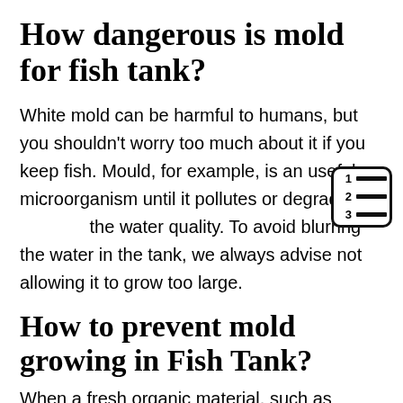How dangerous is mold for fish tank?
White mold can be harmful to humans, but you shouldn't worry too much about it if you keep fish. Mould, for example, is an useful microorganism until it pollutes or degrades the water quality. To avoid blurring the water in the tank, we always advise not allowing it to grow too large.
How to prevent mold growing in Fish Tank?
When a fresh organic material, such as